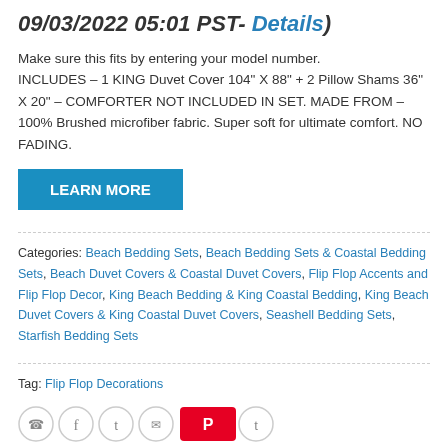09/03/2022 05:01 PST- Details)
Make sure this fits by entering your model number. INCLUDES – 1 KING Duvet Cover 104" X 88" + 2 Pillow Shams 36" X 20" – COMFORTER NOT INCLUDED IN SET. MADE FROM – 100% Brushed microfiber fabric. Super soft for ultimate comfort. NO FADING.
LEARN MORE
Categories: Beach Bedding Sets, Beach Bedding Sets & Coastal Bedding Sets, Beach Duvet Covers & Coastal Duvet Covers, Flip Flop Accents and Flip Flop Decor, King Beach Bedding & King Coastal Bedding, King Beach Duvet Covers & King Coastal Duvet Covers, Seashell Bedding Sets, Starfish Bedding Sets
Tag: Flip Flop Decorations